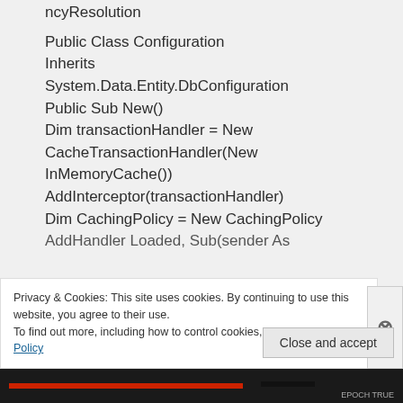ncyResolution
Public Class Configuration
Inherits
System.Data.Entity.DbConfiguration
Public Sub New()
Dim transactionHandler = New CacheTransactionHandler(New InMemoryCache())
AddInterceptor(transactionHandler)
Dim CachingPolicy = New CachingPolicy
AddHandler Loaded, Sub(sender As
Privacy & Cookies: This site uses cookies. By continuing to use this website, you agree to their use.
To find out more, including how to control cookies, see here: Cookie Policy
Close and accept